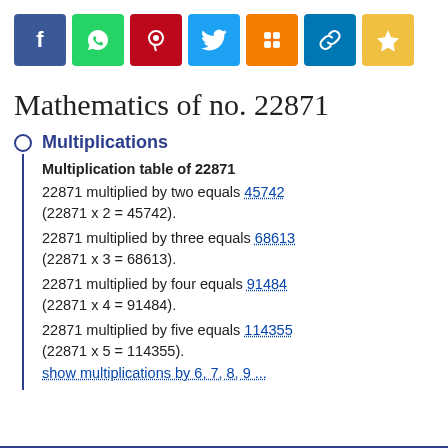[Figure (other): Social media sharing buttons: Facebook, WhatsApp, Pinterest, Twitter, Blogger, Link, Favorite]
Mathematics of no. 22871
Multiplications
Multiplication table of 22871
22871 multiplied by two equals 45742 (22871 x 2 = 45742).
22871 multiplied by three equals 68613 (22871 x 3 = 68613).
22871 multiplied by four equals 91484 (22871 x 4 = 91484).
22871 multiplied by five equals 114355 (22871 x 5 = 114355).
show multiplications by 6, 7, 8, 9 ...